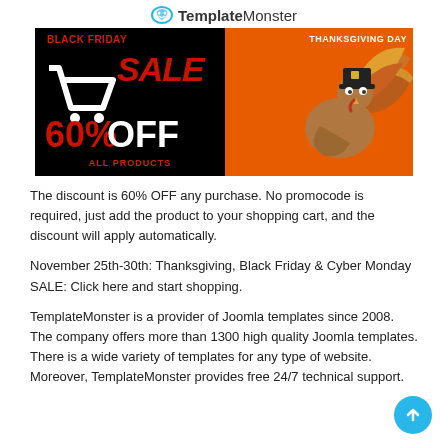TemplateMonster
[Figure (infographic): Black Friday / Thanksgiving Day Sale banner. Left half black background with white shopping cart icon, red 'BLACK FRIDAY' label, red 'SALE' text, red '60%' and white 'OFF' text, red 'ALL PRODUCTS' text. Right half orange background with Thanksgiving turkey cartoon, white 'THANKSGIVING DAY' label.]
The discount is 60% OFF any purchase. No promocode is required, just add the product to your shopping cart, and the discount will apply automatically.
November 25th-30th: Thanksgiving, Black Friday & Cyber Monday SALE: Click here and start shopping.
TemplateMonster is a provider of Joomla templates since 2008. The company offers more than 1300 high quality Joomla templates. There is a wide variety of templates for any type of website. Moreover, TemplateMonster provides free 24/7 technical support.